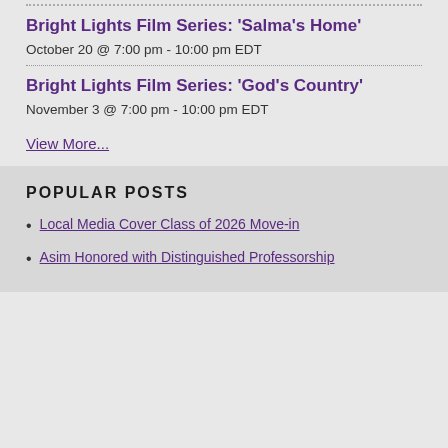Bright Lights Film Series: 'Salma's Home'
October 20 @ 7:00 pm - 10:00 pm EDT
Bright Lights Film Series: 'God's Country'
November 3 @ 7:00 pm - 10:00 pm EDT
View More...
POPULAR POSTS
Local Media Cover Class of 2026 Move-in
Asim Honored with Distinguished Professorship